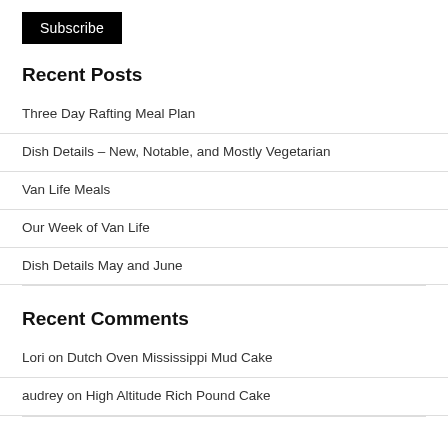[Figure (other): Subscribe button — black rectangle with white text]
Recent Posts
Three Day Rafting Meal Plan
Dish Details – New, Notable, and Mostly Vegetarian
Van Life Meals
Our Week of Van Life
Dish Details May and June
Recent Comments
Lori on Dutch Oven Mississippi Mud Cake
audrey on High Altitude Rich Pound Cake